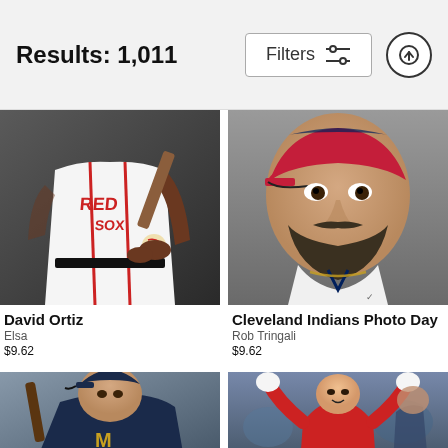Results: 1,011
Filters
[Figure (photo): Baseball player in Red Sox white uniform holding a bat, headless torso view]
David Ortiz
Elsa
$9.62
[Figure (photo): Close-up portrait of a bearded baseball player in white uniform with navy trim, Cleveland Indians Photo Day]
Cleveland Indians Photo Day
Rob Tringali
$9.62
[Figure (photo): Baseball player in navy Brewers uniform holding a bat, partially visible]
[Figure (photo): Baseball player in red uniform with arms raised, crowd visible in background]